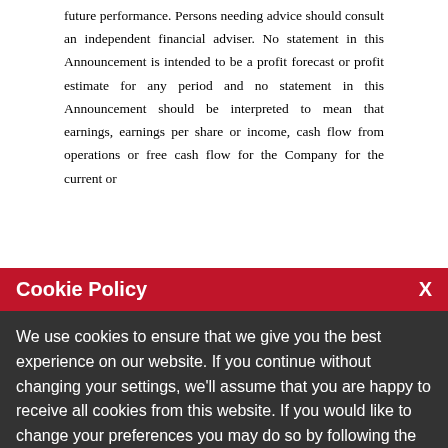future performance. Persons needing advice should consult an independent financial adviser. No statement in this Announcement is intended to be a profit forecast or profit estimate for any period and no statement in this Announcement should be interpreted to mean that earnings, earnings per share or income, cash flow from operations or free cash flow for the Company for the current or
Cookie Policy
We use cookies to ensure that we give you the best experience on our website. If you continue without changing your settings, we'll assume that you are happy to receive all cookies from this website. If you would like to change your preferences you may do so by following the instructions here.
been made pursuant to an exemption under the EU Prospectus Regulation and